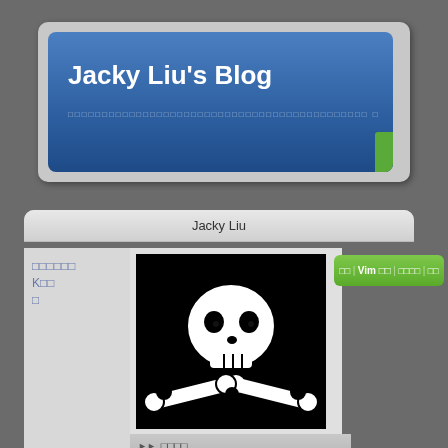Jacky Liu's Blog
□□□□□□□□□□□□□□□□□□□□□□□□□□□□□□□□□□□□□□□□ □
Jacky Liu
□□□□□□ K□□ □
[Figure (illustration): Skull and crossbones icon on black background]
□□ | Vim □□ | □□□□ | □□
□□□□
Vim
MySQL